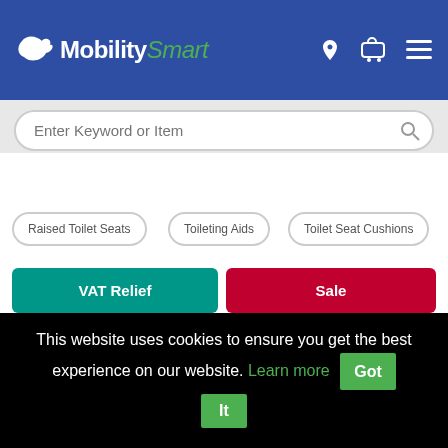MobilitySmart
Enter Keyword or Item
Raised Toilet Seats
Toileting Aids
Toilet Seat Cushions
VAT Relief
Sale
[Figure (photo): Partial view of a toilet seat cushion product in grey/silver color]
This website uses cookies to ensure you get the best experience on our website. Learn more Got It